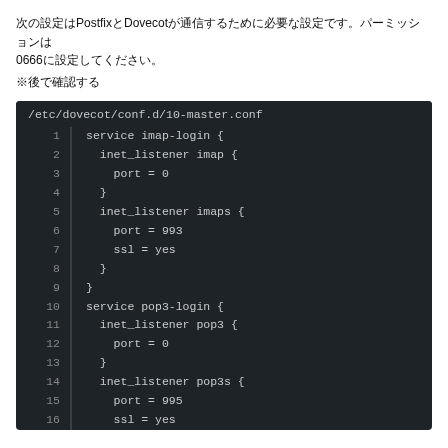次の設定はPostfixとDovecotが通信するために必要な設定です。パーミッションは0666に設定してください。
※後で確認する
[Figure (screenshot): Code block showing /etc/dovecot/conf.d/10-master.conf with service imap-login and service pop3-login configuration, lines 1-16]